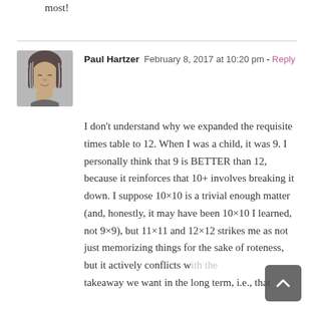most!
Paul Hartzer  February 8, 2017 at 10:20 pm - Reply
I don't understand why we expanded the requisite times table to 12. When I was a child, it was 9. I personally think that 9 is BETTER than 12, because it reinforces that 10+ involves breaking it down. I suppose 10×10 is a trivial enough matter (and, honestly, it may have been 10×10 I learned, not 9×9), but 11×11 and 12×12 strikes me as not just memorizing things for the sake of roteness, but it actively conflicts with the takeaway we want in the long term, i.e., that